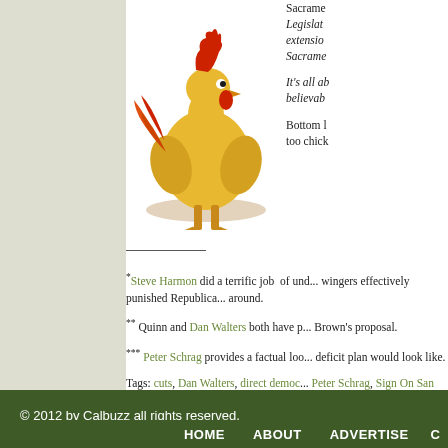[Figure (illustration): Cartoon illustration of a comical yellow chicken/rooster standing on dirt ground with red comb and feathers]
Sacramento... Legislat... extensio... Sacrame...
It's all ab... believab...
Bottom l... too chick...
*Steve Harmon did a terrific job of und... wingers effectively punished Republica... around.
** Quinn and Dan Walters both have p... Brown's proposal.
*** Peter Schrag provides a factual loo... deficit plan would look like.
Tags: cuts, Dan Walters, direct democ... Peter Schrag, Sign On San Diego, Ste... Posted in California Budget, California...
© 2012 by Calbuzz all rights reserved.
HOME   ABOUT   ADVERTISE   C...